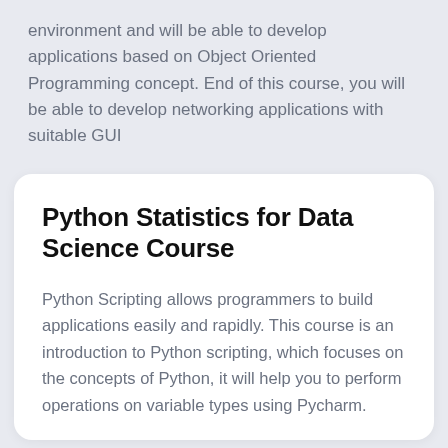environment and will be able to develop applications based on Object Oriented Programming concept. End of this course, you will be able to develop networking applications with suitable GUI
Python Statistics for Data Science Course
Python Scripting allows programmers to build applications easily and rapidly. This course is an introduction to Python scripting, which focuses on the concepts of Python, it will help you to perform operations on variable types using Pycharm.
[Figure (illustration): Blue banner with white icons representing data science and education topics including gears, graduation cap, and globe]